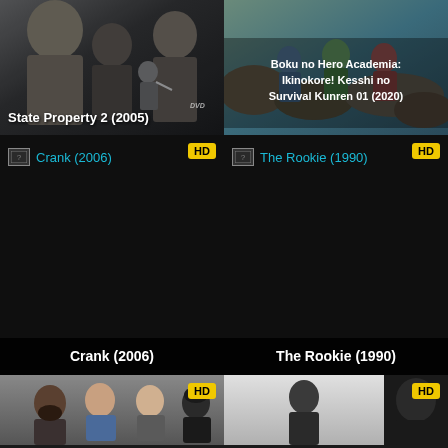[Figure (photo): Movie poster for State Property 2 (2005) showing dark figures, film poster style]
[Figure (photo): Anime poster for Boku no Hero Academia: Ikinokore! Kesshi no Survival Kunren 01 (2020) with colorful anime characters]
[Figure (screenshot): Movie card for Crank (2006) with broken image placeholder and HD badge]
[Figure (screenshot): Movie card for The Rookie (1990) with broken image placeholder and HD badge]
[Figure (photo): Partial movie card for an unnamed film showing three men, HD badge visible]
[Figure (photo): Partial movie card showing a figure, HD badge visible]